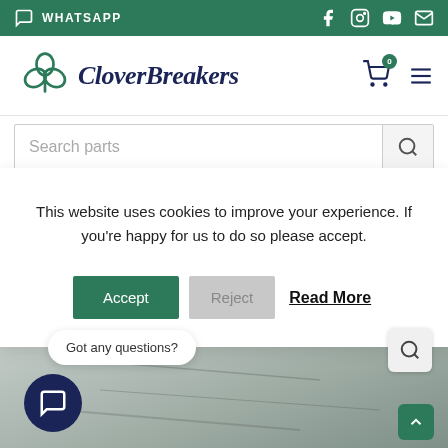WHATSAPP
[Figure (logo): CloverBreakers logo with shamrock icon and stylized text]
Search parts
This website uses cookies to improve your experience. If you're happy for us to do so please accept.
Accept  Reject  Read More
Got any questions?
[Figure (photo): Background image of mechanical parts/tools on grey surface]